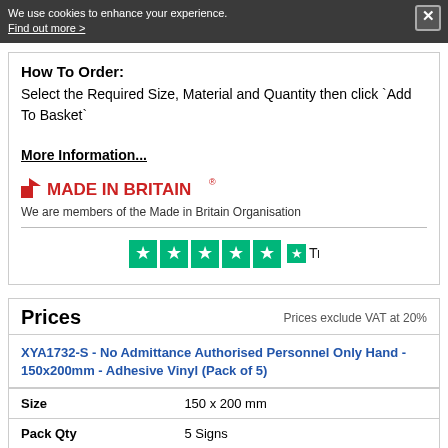We use cookies to enhance your experience. Find out more >
How To Order:
Select the Required Size, Material and Quantity then click `Add To Basket`
More Information...
[Figure (logo): Made in Britain logo with red arrow and red bold text MADE IN BRITAIN with registered trademark symbol]
We are members of the Made in Britain Organisation
[Figure (logo): Trustpilot logo with 5 green stars and Trustpilot brand name]
Prices
Prices exclude VAT at 20%
XYA1732-S - No Admittance Authorised Personnel Only Hand - 150x200mm - Adhesive Vinyl (Pack of 5)
|  |  |
| --- | --- |
| Size | 150 x 200 mm |
| Pack Qty | 5 Signs |